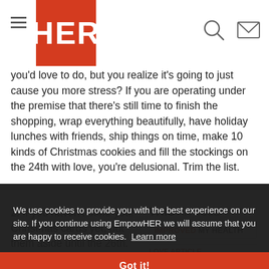HER (logo with hamburger menu, search icon, mail icon)
you'd love to do, but you realize it's going to just cause you more stress? If you are operating under the premise that there's still time to finish the shopping, wrap everything beautifully, have holiday lunches with friends, ship things on time, make 10 kinds of Christmas cookies and fill the stockings on the 24th with love, you're delusional. Trim the list.
2. If you haven't done your Christmas cards yet, put them aside until the 26th. Make them New Year's Day cards instead. People will be just as grateful, and your world will be... if you wait, you might be more inclined to write a family letter or jot down some personal notes than if you push it now.
THIS ARTICLE
IMPROVED MY HEALTH
We use cookies to provide you with the best experience on our site. If you continue using EmpowHER we will assume that you are happy to receive cookies. Learn more
Got it!